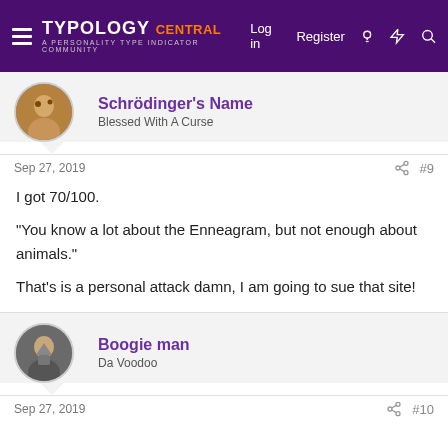Typology Central — A Personality Type Indicator Community | Log in | Register
Schrödinger's Name
Blessed With A Curse
Sep 27, 2019   #9
I got 70/100.

"You know a lot about the Enneagram, but not enough about animals."

That's is a personal attack damn, I am going to sue that site!
Boogie man
Da Voodoo
Sep 27, 2019   #10
89%